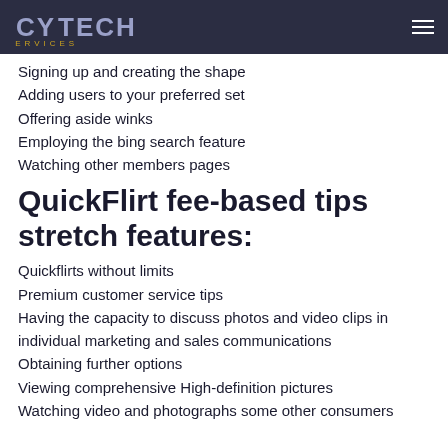CyTech Services
Signing up and creating the shape
Adding users to your preferred set
Offering aside winks
Employing the bing search feature
Watching other members pages
QuickFlirt fee-based tips stretch features:
Quickflirts without limits
Premium customer service tips
Having the capacity to discuss photos and video clips in individual marketing and sales communications
Obtaining further options
Viewing comprehensive High-definition pictures
Watching video and photographs some other consumers